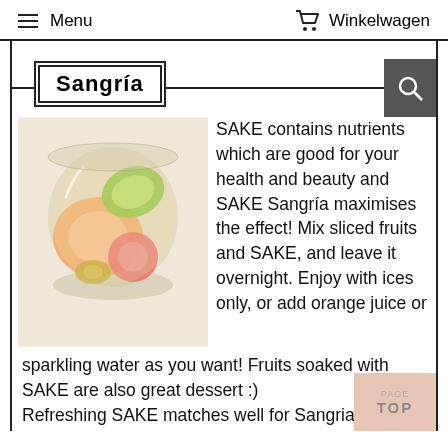Menu | Winkelwagen
Sangría
[Figure (photo): A glass of sake sangria with sliced fruits including peach and lime]
SAKE contains nutrients which are good for your health and beauty and SAKE Sangría maximises the effect! Mix sliced fruits and SAKE, and leave it overnight. Enjoy with ices only, or add orange juice or sparkling water as you want! Fruits soaked with SAKE are also great dessert :)
Refreshing SAKE matches well for Sangria